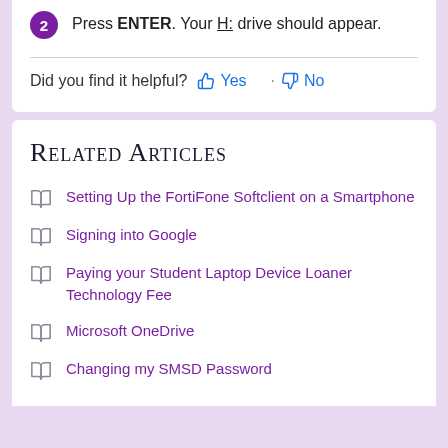2 Press ENTER. Your H: drive should appear.
Did you find it helpful? Yes No
Related Articles
Setting Up the FortiFone Softclient on a Smartphone
Signing into Google
Paying your Student Laptop Device Loaner Technology Fee
Microsoft OneDrive
Changing my SMSD Password